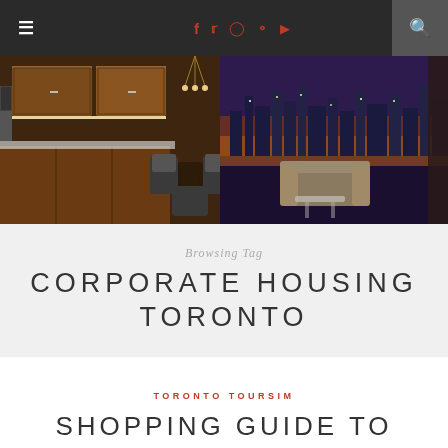≡  f  t  ☺  ①  ▶  🔍
[Figure (photo): Interior photo of a luxury condo/apartment featuring wooden kitchen cabinets, a chandelier, dining area with chairs, and a large window with a city skyline at dusk.]
Browsing Tag
CORPORATE HOUSING TORONTO
TORONTO TOURSIM
SHOPPING GUIDE TO